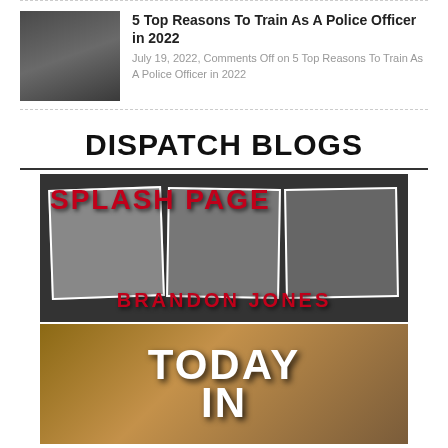[Figure (photo): Thumbnail photo of a police officer in uniform]
5 Top Reasons To Train As A Police Officer in 2022
July 19, 2022, Comments Off on 5 Top Reasons To Train As A Police Officer in 2022
DISPATCH BLOGS
[Figure (illustration): Splash Page book cover by Brandon Jones — red bold text 'SPLASH PAGE' over a collage of black-and-white action photos, with 'BRANDON JONES' at the bottom in red text]
[Figure (illustration): Today In... blog header image with large white text 'TODAY IN' over a sepia/tan collage of historical photographs]